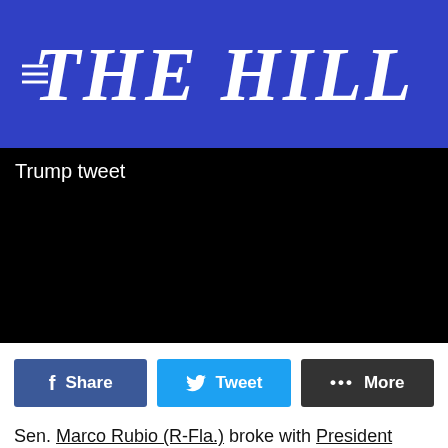THE HILL
[Figure (screenshot): Black video player area with white text overlay reading 'Trump tweet']
Share  Tweet  More
Sen. Marco Rubio (R-Fla.) broke with President Trump on Thursday, calling Israel's decision to bar Reps. Rashida Tlaib (D-Mich.) and Ilhan Omar (D-Minn.) from entering the nation "a mistake."